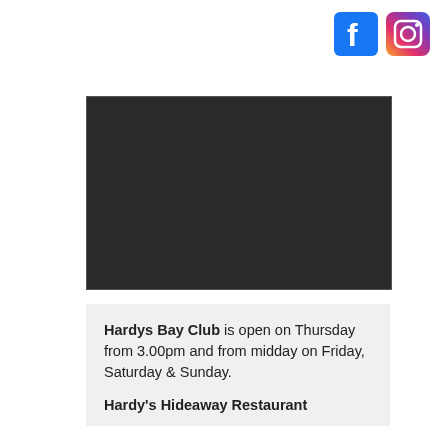[Figure (logo): Facebook and Instagram social media icons in the top right corner]
[Figure (photo): A dark/black rectangular image placeholder]
Hardys Bay Club is open on Thursday from 3.00pm and from midday on Friday, Saturday & Sunday.
Hardy's Hideaway Restaurant